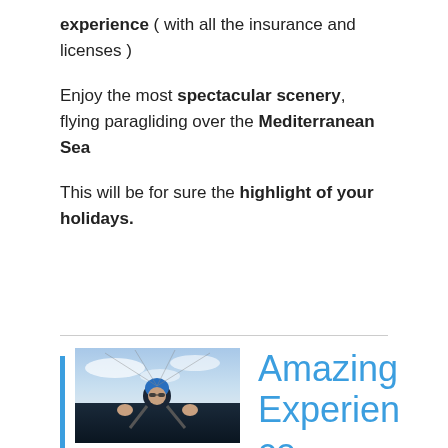experience ( with all the insurance and licenses )
Enjoy the most spectacular scenery, flying paragliding over the Mediterranean Sea
This will be for sure the highlight of your holidays.
[Figure (photo): Photo of two people paragliding, one wearing a blue helmet and sunglasses, smiling and waving, with sky and sea in background]
Amazing Experience